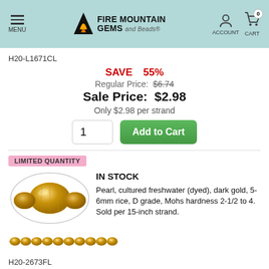Fire Mountain Gems and Beads - MENU, ACCOUNT, CART 0
H20-L1671CL
SAVE 55%
Regular Price: $6.74
Sale Price: $2.98
Only $2.98 per strand
LIMITED QUANTITY
[Figure (photo): Close-up of dark gold cultured freshwater rice pearls against white oval background]
IN STOCK
Pearl, cultured freshwater (dyed), dark gold, 5-6mm rice, D grade, Mohs hardness 2-1/2 to 4. Sold per 15-inch strand.
[Figure (photo): Strand of dark gold cultured freshwater rice pearls shown as a horizontal strand]
H20-2673FL
SAVE 58%